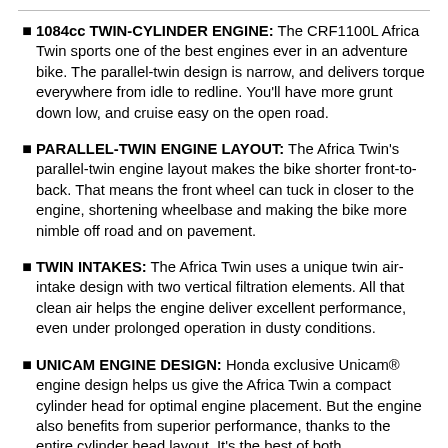1084cc TWIN-CYLINDER ENGINE: The CRF1100L Africa Twin sports one of the best engines ever in an adventure bike. The parallel-twin design is narrow, and delivers torque everywhere from idle to redline. You'll have more grunt down low, and cruise easy on the open road.
PARALLEL-TWIN ENGINE LAYOUT: The Africa Twin's parallel-twin engine layout makes the bike shorter front-to-back. That means the front wheel can tuck in closer to the engine, shortening wheelbase and making the bike more nimble off road and on pavement.
TWIN INTAKES: The Africa Twin uses a unique twin air-intake design with two vertical filtration elements. All that clean air helps the engine deliver excellent performance, even under prolonged operation in dusty conditions.
UNICAM ENGINE DESIGN: Honda exclusive Unicam® engine design helps us give the Africa Twin a compact cylinder head for optimal engine placement. But the engine also benefits from superior performance, thanks to the entire cylinder head layout. It's the best of both